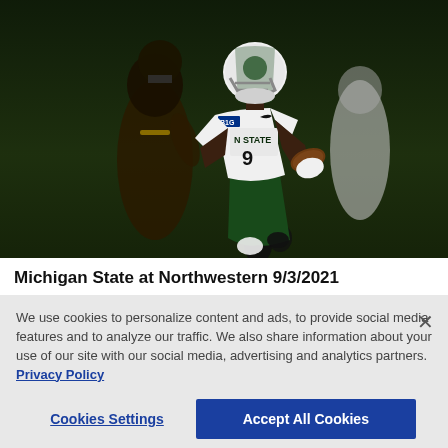[Figure (photo): Michigan State football player #9 in white uniform running with the ball during a game at Northwestern on 9/3/2021. Dark-uniformed Northwestern defenders visible in background.]
Michigan State at Northwestern 9/3/2021
We use cookies to personalize content and ads, to provide social media features and to analyze our traffic. We also share information about your use of our site with our social media, advertising and analytics partners. Privacy Policy
Cookies Settings
Accept All Cookies